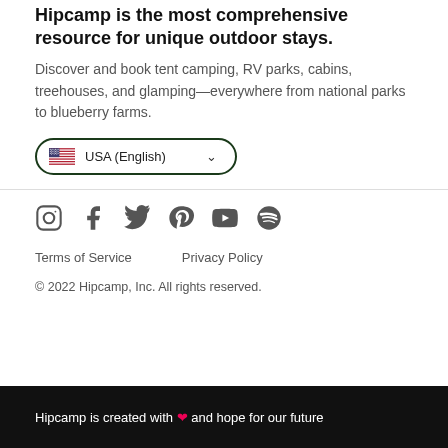Hipcamp is the most comprehensive resource for unique outdoor stays.
Discover and book tent camping, RV parks, cabins, treehouses, and glamping—everywhere from national parks to blueberry farms.
[Figure (other): Language selector button showing USA flag and USA (English) label with dropdown chevron]
[Figure (other): Social media icons row: Instagram, Facebook, Twitter, Pinterest, YouTube, Spotify]
Terms of Service
Privacy Policy
© 2022 Hipcamp, Inc. All rights reserved.
Hipcamp is created with ❤ and hope for our future